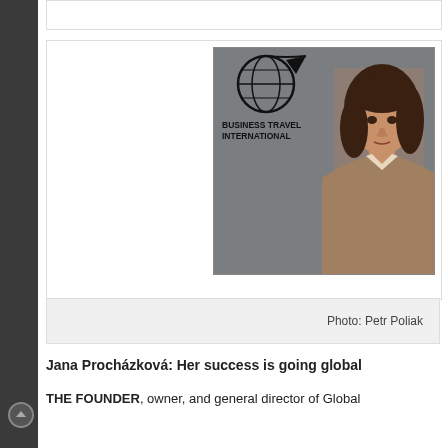[Figure (photo): Woman in business attire standing in front of a Business Travel International logo/sign. The logo shows a globe with an arrow and the text BUSINESS TRAVEL INTERNATIONAL.]
Photo: Petr Poliak
Jana Procházková: Her success is going global
THE FOUNDER, owner, and general director of Global